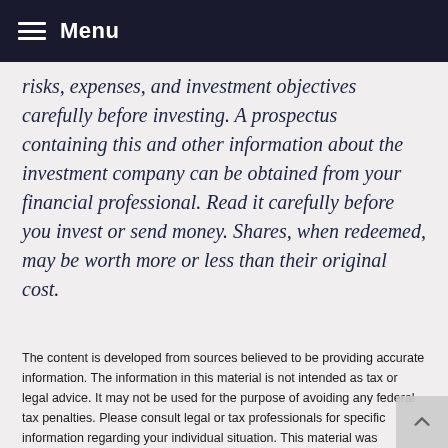Menu
risks, expenses, and investment objectives carefully before investing. A prospectus containing this and other information about the investment company can be obtained from your financial professional. Read it carefully before you invest or send money. Shares, when redeemed, may be worth more or less than their original cost.
The content is developed from sources believed to be providing accurate information. The information in this material is not intended as tax or legal advice. It may not be used for the purpose of avoiding any federal tax penalties. Please consult legal or tax professionals for specific information regarding your individual situation. This material was developed and produced by FMG Suite to provide information on a topic that may be of interest. FMG Suite is not affiliated with the named